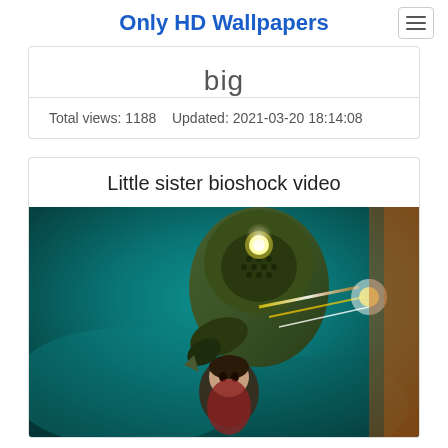Only HD Wallpapers
big
Total views: 1188    Updated: 2021-03-20 18:14:08
Little sister bioshock video
[Figure (photo): Bioshock artwork showing a Big Daddy armored figure with a drill and glowing light on its helmet, with a Little Sister character beneath it, set against a teal/green atmospheric background with energy effects]